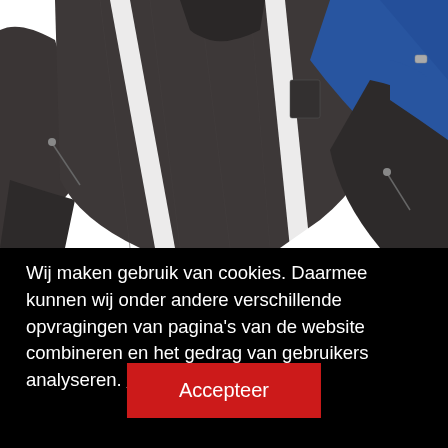[Figure (photo): Close-up photo of a motorcycle jacket with dark gray/charcoal textile body, white diagonal stripe accents across the chest, and bright blue panels on the right shoulder area. The left sleeve is visible with zippers, shot against a white background.]
Wij maken gebruik van cookies. Daarmee kunnen wij onder andere verschillende opvragingen van pagina's van de website combineren en het gedrag van gebruikers analyseren. Privacy Settings.